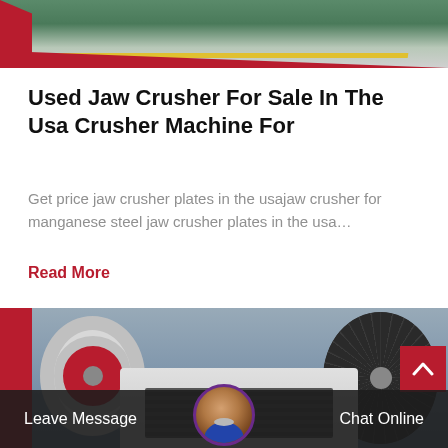[Figure (photo): Top partial image showing an industrial floor with green paint and a yellow diagonal stripe, with a red decorative bar/swoosh overlay at the bottom edge]
Used Jaw Crusher For Sale In The Usa Crusher Machine For
Get price jaw crusher plates in the usajaw crusher for manganese steel jaw crusher plates in the usa…
Read More
[Figure (photo): Industrial jaw crusher machine showing large flywheel with red rim, black belt drive pulley, and white/grey crusher body components in a factory setting]
Leave Message    Chat Online